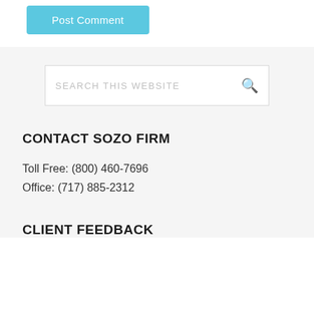[Figure (other): Post Comment button — a light blue rounded rectangle button with white text reading 'Post Comment']
SEARCH THIS WEBSITE
CONTACT SOZO FIRM
Toll Free: (800) 460-7696
Office: (717) 885-2312
CLIENT FEEDBACK